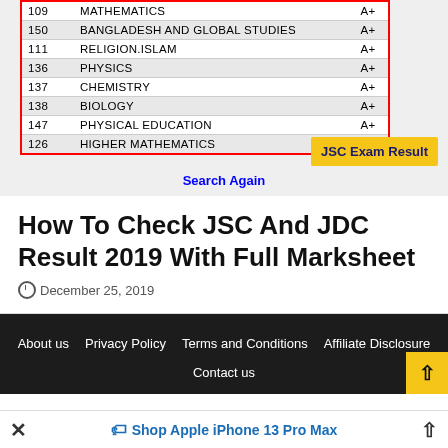[Figure (screenshot): Screenshot of JSC exam result table showing subject codes, subject names (MATHEMATICS, BANGLADESH AND GLOBAL STUDIES, RELIGION.ISLAM, PHYSICS, CHEMISTRY, BIOLOGY, PHYSICAL EDUCATION, HIGHER MATHEMATICS) with grades (A+), highlighted in red border. Also shows 'Search Again' link and 'JSC Exam Result' yellow badge.]
How To Check JSC And JDC Result 2019 With Full Marksheet
December 25, 2019
About us  Privacy Policy  Terms and Conditions  Affiliate Disclosure  Contact us
Shop Apple iPhone 13 Pro Max